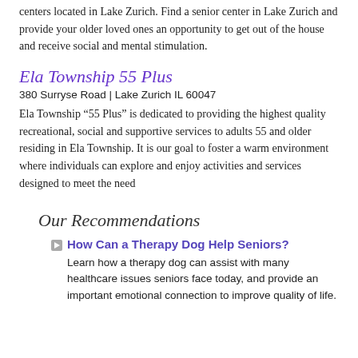centers located in Lake Zurich. Find a senior center in Lake Zurich and provide your older loved ones an opportunity to get out of the house and receive social and mental stimulation.
Ela Township 55 Plus
380 Surryse Road | Lake Zurich IL 60047
Ela Township “55 Plus” is dedicated to providing the highest quality recreational, social and supportive services to adults 55 and older residing in Ela Township. It is our goal to foster a warm environment where individuals can explore and enjoy activities and services designed to meet the need
Our Recommendations
How Can a Therapy Dog Help Seniors? Learn how a therapy dog can assist with many healthcare issues seniors face today, and provide an important emotional connection to improve quality of life.